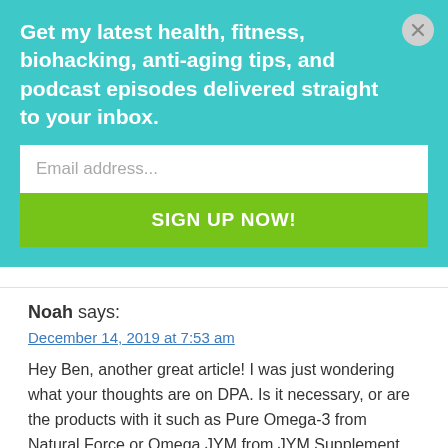Get my latest health, fitness, biohacking, anti-aging tips, and podcast episodes delivered straight to your inbox.
Email address...
SIGN UP NOW!
Noah says:
December 14, 2019 at 7:53 am
Hey Ben, another great article! I was just wondering what your thoughts are on DPA. Is it necessary, or are the products with it such as Pure Omega-3 from Natural Force or Omega JYM from JYM Supplement Science out to get us?